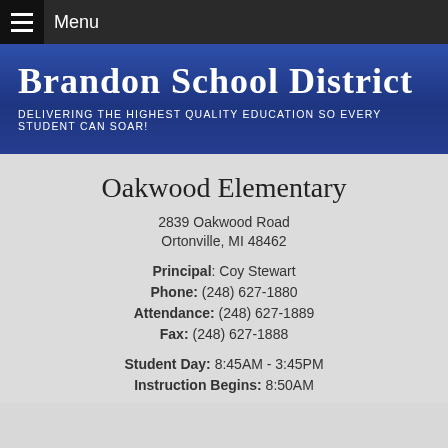Menu
Brandon School District
Delivering the highest quality education so every student can soar!
Oakwood Elementary
2839 Oakwood Road
Ortonville, MI 48462
Principal: Coy Stewart
Phone: (248) 627-1880
Attendance: (248) 627-1889
Fax: (248) 627-1888
Student Day: 8:45AM - 3:45PM
Instruction Begins: 8:50AM